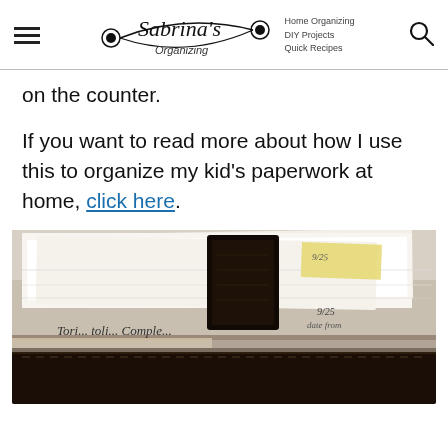Sabrina's Organizing | Home Organizing | DIY Projects | Quick Recipes
on the counter.
If you want to read more about how I use this to organize my kid's paperwork at home, click here.
[Figure (photo): Photo of a filing/accordion folder system with papers and folders, a dark leather card holder or wallet-like clip in the center, handwritten tab labels, and a dark wooden bottom tray on a table surface.]